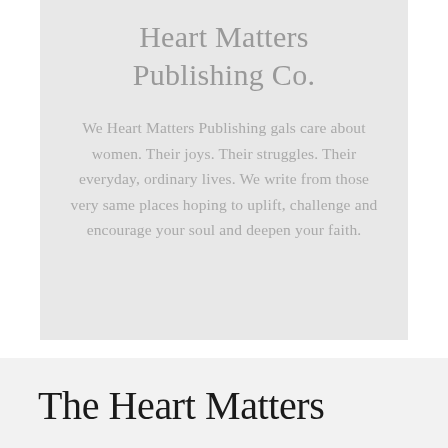Heart Matters Publishing Co.
We Heart Matters Publishing gals care about women. Their joys. Their struggles. Their everyday, ordinary lives. We write from those very same places hoping to uplift, challenge and encourage your soul and deepen your faith.
The Heart Matters